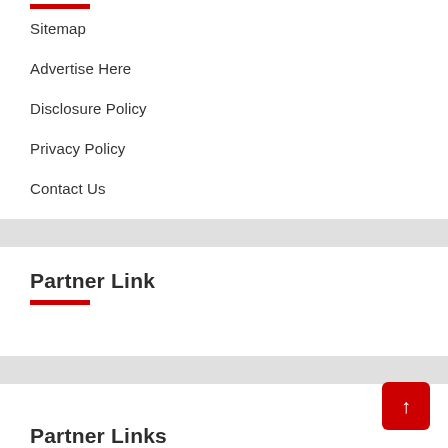Sitemap
Advertise Here
Disclosure Policy
Privacy Policy
Contact Us
Partner Link
Partner Links